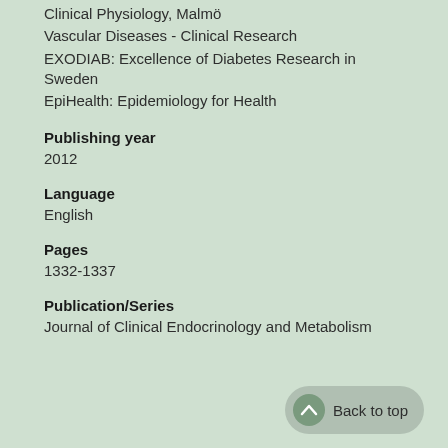Clinical Physiology, Malmö
Vascular Diseases - Clinical Research
EXODIAB: Excellence of Diabetes Research in Sweden
EpiHealth: Epidemiology for Health
Publishing year
2012
Language
English
Pages
1332-1337
Publication/Series
Journal of Clinical Endocrinology and Metabolism